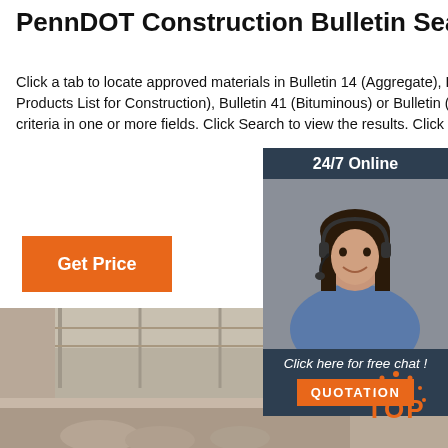PennDOT Construction Bulletin Search
Click a tab to locate approved materials in Bulletin 14 (Aggregate), Bulletin 15 (Qualified Products List for Construction), Bulletin 41 (Bituminous) or Bu... (Concrete). Enter search criteria in one or mo... Click Search to view the results. Click Reset...
Get Price
[Figure (photo): Interior warehouse/industrial building with steel structure and roof, cattle visible in foreground]
[Figure (infographic): Chat widget with 24/7 Online banner, female customer service agent with headset, 'Click here for free chat!' text, and orange QUOTATION button]
[Figure (infographic): Orange TOP button with decorative dots, bottom-right corner]